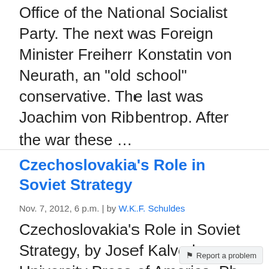Office of the National Socialist Party. The next was Foreign Minister Freiherr Konstatin von Neurath, an "old school" conservative. The last was Joachim von Ribbentrop. After the war these …
Czechoslovakia's Role in Soviet Strategy
Nov. 7, 2012, 6 p.m. | by W.K.F. Schuldes
Czechoslovakia's Role in Soviet Strategy, by Josef Kalvoda, University Press of America, Pb, 382pp, $9.75. The author, a professional historian born in Czechoslovakia in